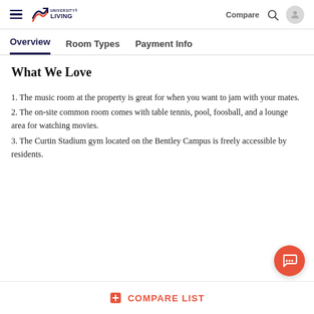University Living — Compare  [search icon]  [user icon]
Overview   Room Types   Payment Info
What We Love
1. The music room at the property is great for when you want to jam with your mates.
2. The on-site common room comes with table tennis, pool, foosball, and a lounge area for watching movies.
3. The Curtin Stadium gym located on the Bentley Campus is freely accessible by residents.
COMPARE LIST